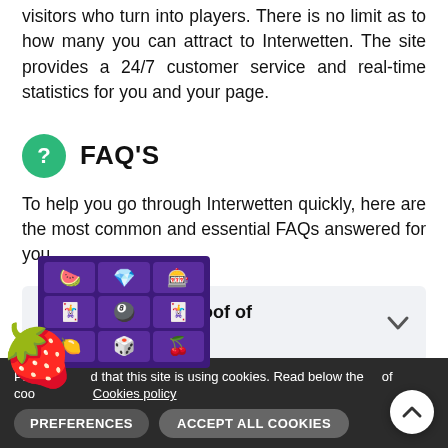visitors who turn into players. There is no limit as to how many you can attract to Interwetten. The site provides a 24/7 customer service and real-time statistics for you and your page.
FAQ'S
To help you go through Interwetten quickly, here are the most common and essential FAQs answered for you.
Should I provide proof of identification?
Please be informed that this site is using cookies. Read below the use of cookies. Cookies policy  PREFERENCES  ACCEPT ALL COOKIES